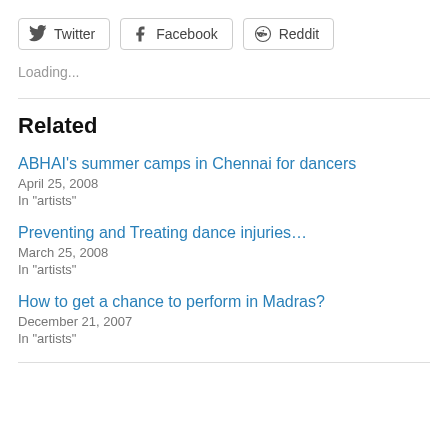Twitter | Facebook | Reddit (share buttons)
Loading...
Related
ABHAI's summer camps in Chennai for dancers
April 25, 2008
In "artists"
Preventing and Treating dance injuries…
March 25, 2008
In "artists"
How to get a chance to perform in Madras?
December 21, 2007
In "artists"